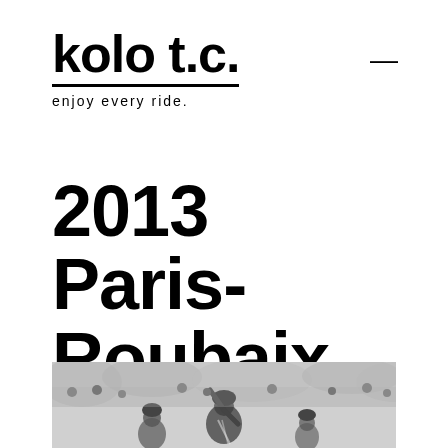kolo t.c. — enjoy every ride.
2013 Paris-Roubaix Race Recap
[Figure (photo): Black and white photo of cyclists at the 2013 Paris-Roubaix race, with a crowd in the background. A cyclist in the foreground raises their arm.]